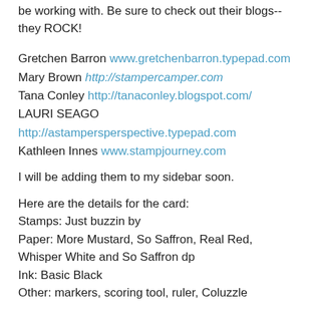be working with. Be sure to check out their blogs-- they ROCK!
Gretchen Barron www.gretchenbarron.typepad.com
Mary Brown http://stampercamper.com
Tana Conley http://tanaconley.blogspot.com/
LAURI SEAGO http://astampersperspective.typepad.com
Kathleen Innes www.stampjourney.com
I will be adding them to my sidebar soon.
Here are the details for the card:
Stamps: Just buzzin by
Paper: More Mustard, So Saffron, Real Red, Whisper White and So Saffron dp
Ink: Basic Black
Other: markers, scoring tool, ruler, Coluzzle
Thanks for stopping by today!
Mary Jo